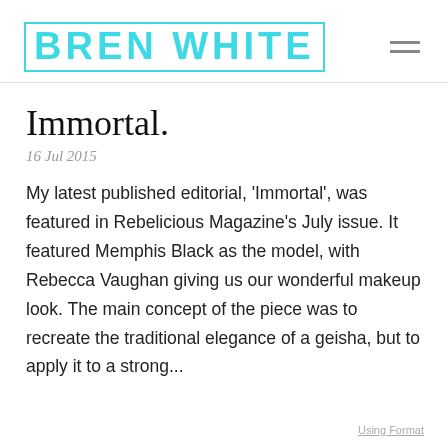BREN WHITE
Immortal.
16 Jul 2015
My latest published editorial, ‘Immortal’, was featured in Rebelicious Magazine’s July issue. It featured Memphis Black as the model, with Rebecca Vaughan giving us our wonderful makeup look. The main concept of the piece was to recreate the traditional elegance of a geisha, but to apply it to a strong...
Using Format